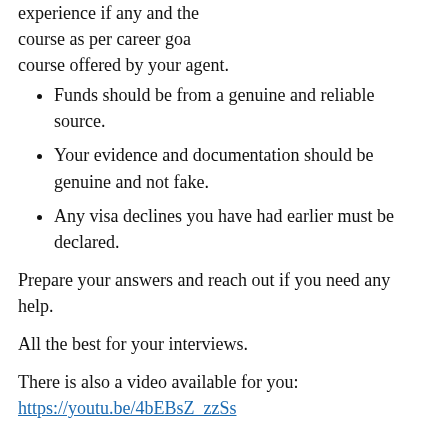experience if any and the course as per career goa… course offered by your agent.
Funds should be from a genuine and reliable source.
Your evidence and documentation should be genuine and not fake.
Any visa declines you have had earlier must be declared.
Prepare your answers and reach out if you need any help.
All the best for your interviews.
There is also a video available for you:
https://youtu.be/4bEBsZ_zzSs